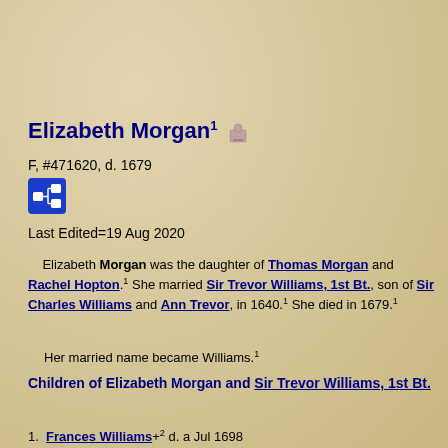Elizabeth Morgan¹ 🪦
F, #471620, d. 1679
[Figure (other): Blue pedigree/family tree icon button]
Last Edited=19 Aug 2020
Elizabeth Morgan was the daughter of Thomas Morgan and Rachel Hopton.¹ She married Sir Trevor Williams, 1st Bt., son of Sir Charles Williams and Ann Trevor, in 1640.¹ She died in 1679.¹
Her married name became Williams.¹
Children of Elizabeth Morgan and Sir Trevor Williams, 1st Bt.
1. Frances Williams+² d. a Jul 1698